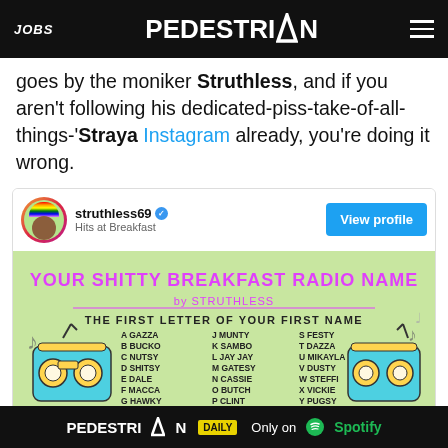JOBS | PEDESTRIAN | menu
goes by the moniker Struthless, and if you aren't following his dedicated-piss-take-of-all-things-'Straya Instagram already, you're doing it wrong.
[Figure (screenshot): Instagram embed for struthless69 showing 'YOUR SHITTY BREAKFAST RADIO NAME by STRUTHLESS' image with a letter-to-name chart. Profile name: struthless69, subtitle: Hits at Breakfast. View profile button shown.]
PEDESTRIAN DAILY | Only on Spotify